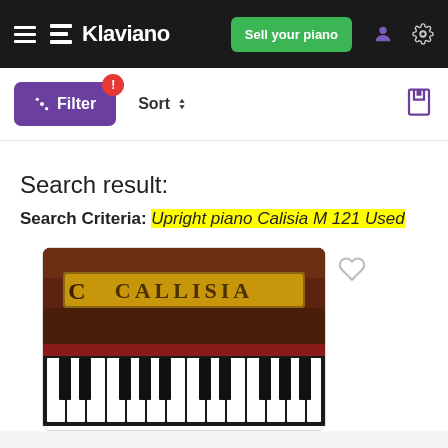Klaviano — Sell your piano
Filter  Sort
Search result:
Search Criteria: Upright piano Calisia M 121 Used
[Figure (photo): Close-up photo of a Callisia upright piano showing the gold brand lettering 'CALLISIA' on the wooden fallboard, with piano keys (black and white) visible below.]